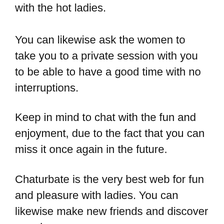with the hot ladies.
You can likewise ask the women to take you to a private session with you to be able to have a good time with no interruptions.
Keep in mind to chat with the fun and enjoyment, due to the fact that you can miss it once again in the future.
Chaturbate is the very best web for fun and pleasure with ladies. You can likewise make new friends and discover a real one.